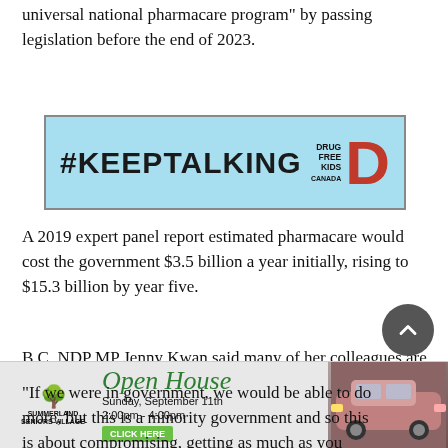universal national pharmacare program" by passing legislation before the end of 2023.
[Figure (illustration): #KEEPTALKING ad banner with Drug Free Kids Canada logo]
A 2019 expert panel report estimated pharmacare would cost the government $3.5 billion a year initially, rising to $15.3 billion by year five.
B.C. NDP MP Jenny Kwan said many of her colleagues are excited about making those two programs happen.
“If we were in government, we would be able to do more, but this is a minority government and so this is about compromising, getting as much as you can,” she said
[Figure (illustration): Summerland Seniors Village Open House advertisement - Sunday September 11th 2:00pm-4:00pm]